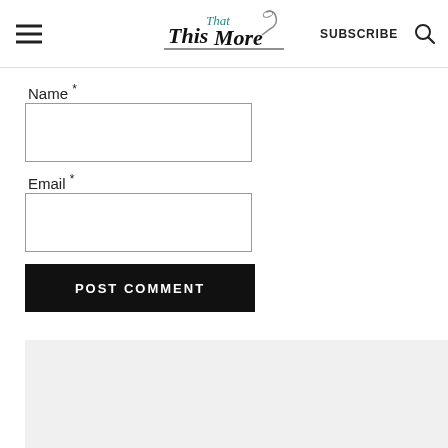This That More — SUBSCRIBE
Name *
Email *
POST COMMENT